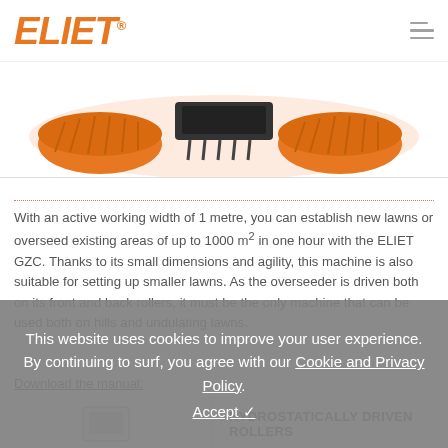ELIET®
[Figure (photo): Orange ELIET GZC overseeder machine viewed from above, showing orange rollers and tines]
With an active working width of 1 metre, you can establish new lawns or overseed existing areas of up to 1000 m² in one hour with the ELIET GZC. Thanks to its small dimensions and agility, this machine is also suitable for setting up smaller lawns. As the overseeder is driven both on its front and back rollers, it must be the only machine that can be used both on hills and undulating lawns.
Download the manual:
HYDROSTATICALLY DRIVEN ROLLERS
This website uses cookies to improve your user experience. By continuing to surf, you agree with our Cookie and Privacy Policy. Accept ✓